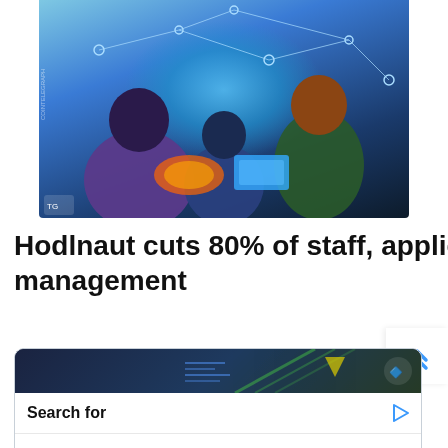[Figure (illustration): Comic/digital illustration showing hackers or tech workers at laptops with network connection lines in background, cyberpunk style. Cointelegraph watermark visible.]
Hodlnaut cuts 80% of staff, applies for Singapore judicial management
[Figure (infographic): Yahoo! Search sponsored ad box with dark header background. Search for: 01. 5 Best Bitcoin Stocks, 02. Best DIY Business Ideas. Yahoo! Search | Sponsored.]